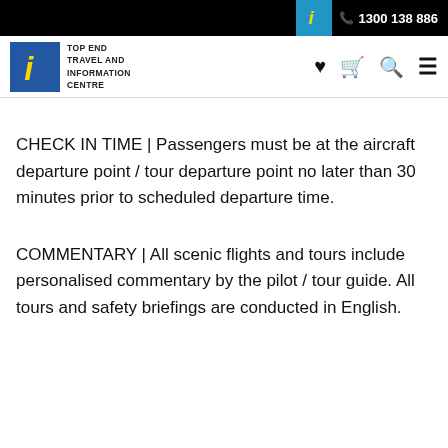1300 138 886
[Figure (logo): Top End Travel and Information Centre logo with blue badge containing italic 'i' in yellow]
CHECK IN TIME | Passengers must be at the aircraft departure point / tour departure point no later than 30 minutes prior to scheduled departure time.
COMMENTARY | All scenic flights and tours include personalised commentary by the pilot / tour guide. All tours and safety briefings are conducted in English.